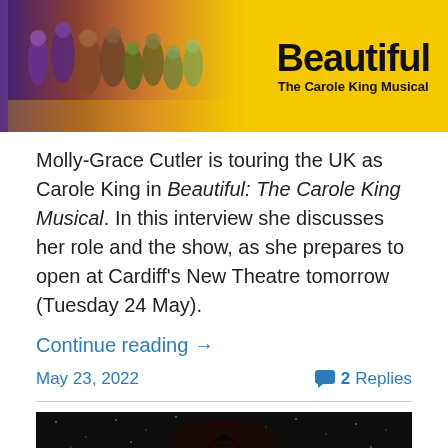[Figure (photo): Promotional banner for 'Beautiful: The Carole King Musical' with yellow background, colorful performers on left, and bold title text on right]
Molly-Grace Cutler is touring the UK as Carole King in Beautiful: The Carole King Musical. In this interview she discusses her role and the show, as she prepares to open at Cardiff's New Theatre tomorrow (Tuesday 24 May).
Continue reading →
May 23, 2022    💬 2 Replies
[Figure (photo): Portrait photo of a woman with long dark hair against a dark starry background]